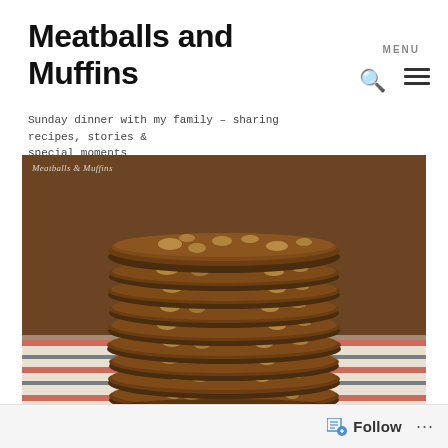Meatballs and Muffins
Sunday dinner with my family – sharing recipes, stories & special moments
[Figure (photo): Stack of oatmeal/nut cookies piled high on a striped cloth, close-up food photography. Watermark reads 'Meatballs & Muffins' in top-left corner.]
Follow ...